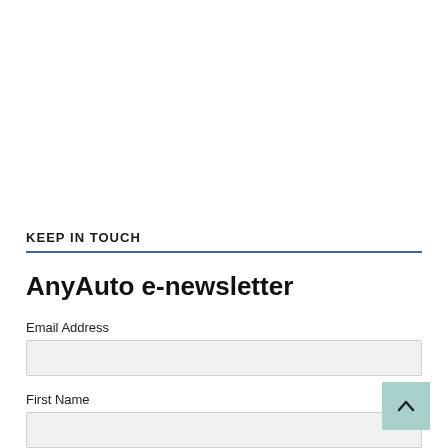KEEP IN TOUCH
AnyAuto e-newsletter
Email Address
First Name
Sign Up